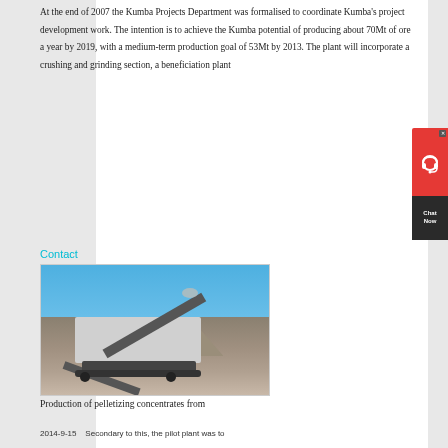At the end of 2007 the Kumba Projects Department was formalised to coordinate Kumba's project development work. The intention is to achieve the Kumba potential of producing about 70Mt of ore a year by 2019, with a medium-term production goal of 53Mt by 2013. The plant will incorporate a crushing and grinding section, a beneficiation plant
Contact
[Figure (photo): A mobile crushing and screening machine at a mining site, photographed against a blue sky with rocky terrain/ore pile in the background.]
Production of pelletizing concentrates from
2014-9-15    Secondary to this, the pilot plant was to